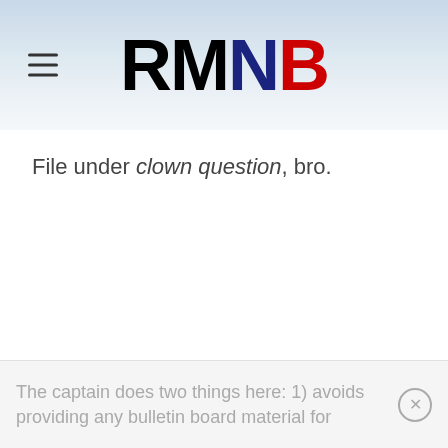RMNB
File under clown question, bro.
The captain does two things here: 1) avoids providing any bulletin board material for